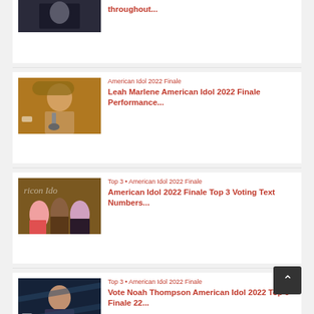[Figure (photo): Partial card at top: thumbnail of a person in dark clothing, with text 'throughout...' in red]
throughout...
[Figure (photo): Thumbnail of Leah Marlene performing, wearing a hat, singing into microphone]
American Idol 2022 Finale
Leah Marlene American Idol 2022 Finale Performance...
[Figure (photo): Thumbnail of Top 3 contestants posing in front of American Idol backdrop]
Top 3 • American Idol 2022 Finale
American Idol 2022 Finale Top 3 Voting Text Numbers...
[Figure (photo): Thumbnail of Noah Thompson standing against a blue background]
Top 3 • American Idol 2022 Finale
Vote Noah Thompson American Idol 2022 Top 3 Finale 22...